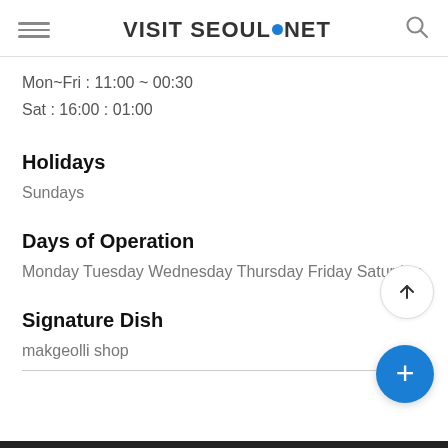VISIT SEOUL.NET
Mon~Fri : 11:00 ~ 00:30
Sat : 16:00 : 01:00
Holidays
Sundays
Days of Operation
Monday Tuesday Wednesday Thursday Friday Saturday
Signature Dish
makgeolli shop